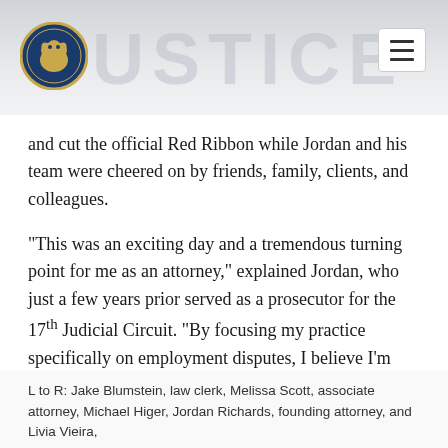JUSTICE (watermark) — logo and menu button
and cut the official Red Ribbon while Jordan and his team were cheered on by friends, family, clients, and colleagues.
“This was an exciting day and a tremendous turning point for me as an attorney,” explained Jordan, who just a few years prior served as a prosecutor for the 17th Judicial Circuit. “By focusing my practice specifically on employment disputes, I believe I’m better able to provide my clients with an in-depth knowledge in this ever-changing, complex area of the law.”
L to R: Jake Blumstein, law clerk, Melissa Scott, associate attorney, Michael Higer, Jordan Richards, founding attorney, and Livia Vieira,